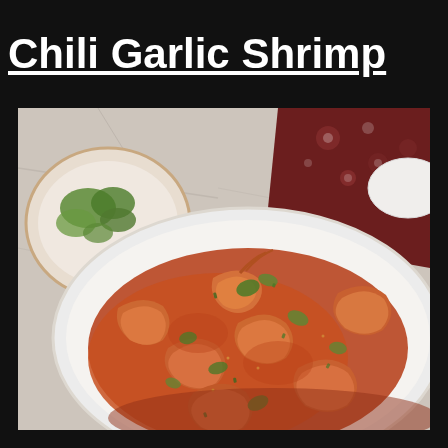Chili Garlic Shrimp
[Figure (photo): Overhead food photography showing a white oval plate filled with chili garlic shrimp coated in a deep orange-red sauce and garnished with fresh chopped cilantro and green onions. In the upper left is a small round bowl containing a white sauce or dip topped with fresh cilantro. Upper right shows a dark maroon floral patterned cloth napkin and white ceramic dishes, all arranged on a white marble surface.]